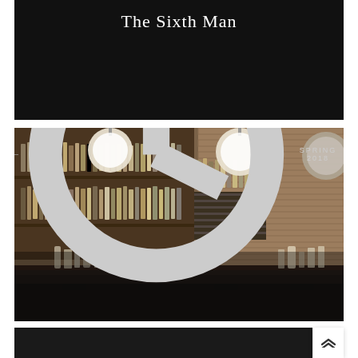The Sixth Man
[Figure (photo): Interior of a bar called Grey Ghost showing shelves of liquor bottles on a brick wall, pendant globe lights hanging from the ceiling, and a bar counter with stools. Overlay text reads 'A Grey Ghost Story' and 'SPRING 2018'.]
A Grey Ghost Story — SPRING 2018